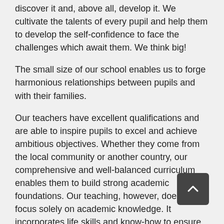discover it and, above all, develop it. We cultivate the talents of every pupil and help them to develop the self-confidence to face the challenges which await them. We think big!
The small size of our school enables us to forge harmonious relationships between pupils and with their families.
Our teachers have excellent qualifications and are able to inspire pupils to excel and achieve ambitious objectives. Whether they come from the local community or another country, our comprehensive and well-balanced curriculum enables them to build strong academic foundations. Our teaching, however, does not focus solely on academic knowledge. It incorporates life skills and know-how to ensure balanced, all-round development.
The students who leave our school know that